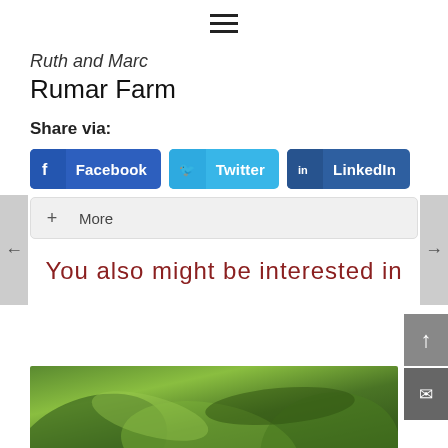[Figure (other): Hamburger menu icon (three horizontal lines) centered at the top of the page]
Ruth and Marc
Rumar Farm
Share via:
[Figure (infographic): Social share buttons: Facebook (blue), Twitter (cyan), LinkedIn (dark blue), and a More (+) button]
You also might be interested in
[Figure (photo): Close-up blurred photo of green plant leaves at the bottom of the page]